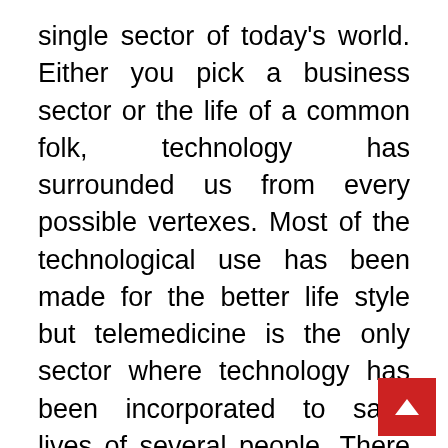single sector of today's world. Either you pick a business sector or the life of a common folk, technology has surrounded us from every possible vertexes. Most of the technological use has been made for the better life style but telemedicine is the only sector where technology has been incorporated to save lives of several people. There are a number of locations all across the world which is not well connected with medical facilities. In past decades, you can observe from the studies that most of the deaths in remote areas are due to lack of accurate medical fac at required time. As a solution,